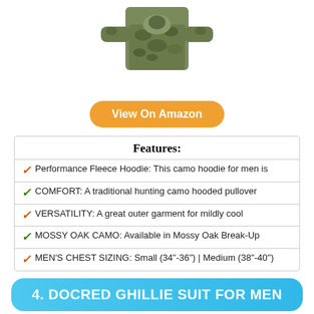[Figure (photo): Camo hunting hoodie shirt displayed on white background, long-sleeved camouflage pattern]
View On Amazon
| Features: |
| --- |
| ✓ Performance Fleece Hoodie: This camo hoodie for men is |
| ✓ COMFORT: A traditional hunting camo hooded pullover |
| ✓ VERSATILITY: A great outer garment for mildly cool |
| ✓ MOSSY OAK CAMO: Available in Mossy Oak Break-Up |
| ✓ MEN'S CHEST SIZING: Small (34"-36") | Medium (38"-40") |
4. DOCRED GHILLIE SUIT FOR MEN
[Figure (photo): Ghillie suit set displayed showing camouflage jacket and pants]